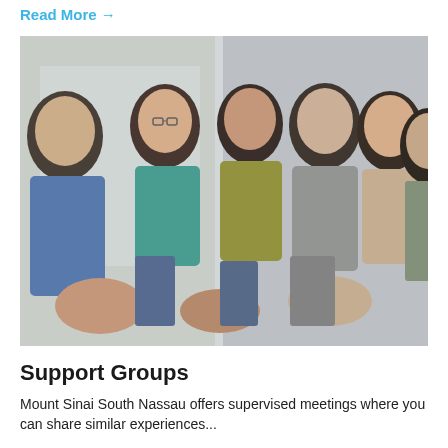Read More →
[Figure (photo): Group of six diverse adults sitting in a circle in a support group meeting, engaged in conversation in a bright room.]
Support Groups
Mount Sinai South Nassau offers supervised meetings where you can share similar experiences...